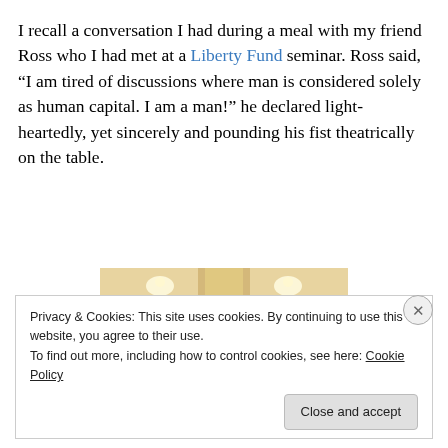I recall a conversation I had during a meal with my friend Ross who I had met at a Liberty Fund seminar. Ross said, “I am tired of discussions where man is considered solely as human capital. I am a man!” he declared light-heartedly, yet sincerely and pounding his fist theatrically on the table.
[Figure (photo): Interior view of a library with bookshelves lining both sides of a corridor, illuminated by overhead lighting, with a large column or pillar in the center foreground.]
Privacy & Cookies: This site uses cookies. By continuing to use this website, you agree to their use.
To find out more, including how to control cookies, see here: Cookie Policy